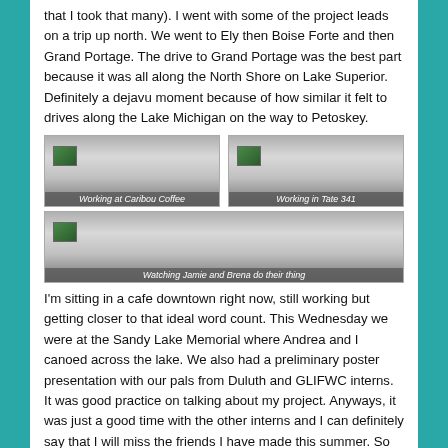that I took that many). I went with some of the project leads on a trip up north. We went to Ely then Boise Forte and then Grand Portage. The drive to Grand Portage was the best part because it was all along the North Shore on Lake Superior. Definitely a dejavu moment because of how similar it felt to drives along the Lake Michigan on the way to Petoskey.
[Figure (photo): Thumbnail image labeled 'Working at Caribou Coffee']
[Figure (photo): Thumbnail image labeled 'Working in Tate 341']
[Figure (photo): Thumbnail image labeled 'Watching Jamie and Brena do their thing']
I'm sitting in a cafe downtown right now, still working but getting closer to that ideal word count. This Wednesday we were at the Sandy Lake Memorial where Andrea and I canoed across the lake. We also had a preliminary poster presentation with our pals from Duluth and GLIFWC interns. It was good practice on talking about my project. Anyways, it was just a good time with the other interns and I can definitely say that I will miss the friends I have made this summer. So here's to the next two weeks with